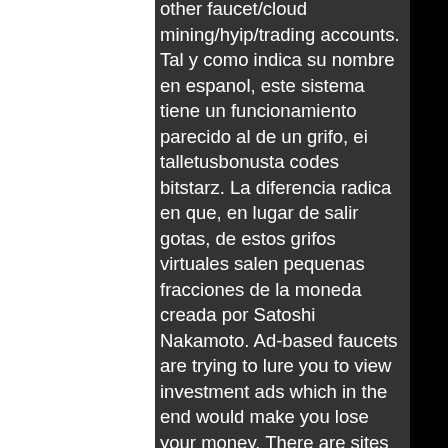other faucet/cloud mining/hyip/trading accounts. Tal y como indica su nombre en espanol, este sistema tiene un funcionamiento parecido al de un grifo, ei talletusbonusta codes bitstarz. La diferencia radica en que, en lugar de salir gotas, de estos grifos virtuales salen pequenas fracciones de la moneda creada por Satoshi Nakamoto. Ad-based faucets are trying to lure you to view investment ads which in the end would make you lose your money. There are sites that profess to be online wallet services that deposit tiny amounts of crypto into your wallet on their site in exchange for daily logins, bitstarz free chip 2022. Before we add free BTC to your account you need to VERIFY that you are human and not a software (automated bot) to prevent user from abusing our generator. After successfull completetion of the offer, Bitcoin will be addded to your account in just few minutes, bitstarz казино affslot. Claim ID Payout